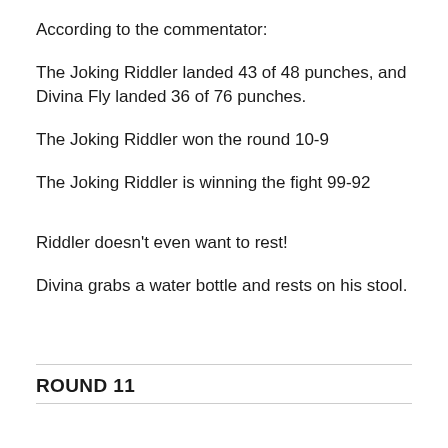According to the commentator:
The Joking Riddler landed 43 of 48 punches, and Divina Fly landed 36 of 76 punches.
The Joking Riddler won the round 10-9
The Joking Riddler is winning the fight 99-92
Riddler doesn't even want to rest!
Divina grabs a water bottle and rests on his stool.
ROUND 11